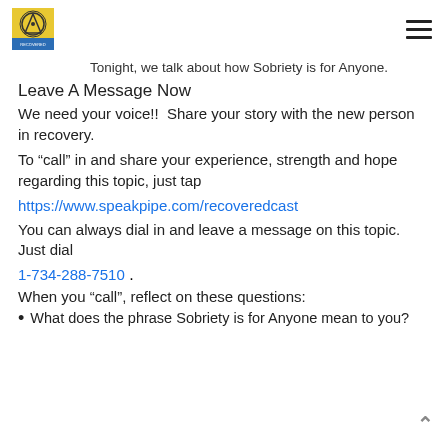[AA logo] [hamburger menu]
Tonight, we talk about how Sobriety is for Anyone.
Leave A Message Now
We need your voice!!  Share your story with the new person in recovery.
To “call” in and share your experience, strength and hope regarding this topic, just tap
https://www.speakpipe.com/recoveredcast
You can always dial in and leave a message on this topic.  Just dial
1-734-288-7510 .
When you “call”, reflect on these questions:
What does the phrase Sobriety is for Anyone mean to you?